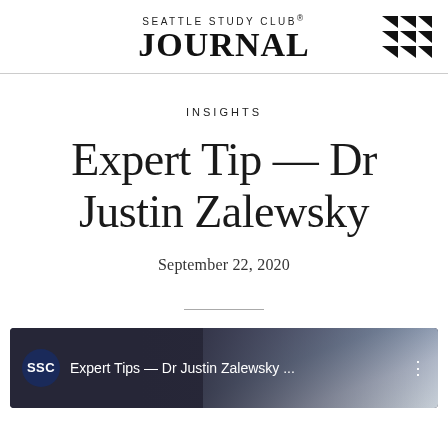SEATTLE STUDY CLUB® JOURNAL
INSIGHTS
Expert Tip — Dr Justin Zalewsky
September 22, 2020
[Figure (screenshot): Video thumbnail showing SSC logo circle on left with text 'Expert Tips — Dr Justin Zalewsky ...' and a portrait photo of Dr Zalewsky on dark background]